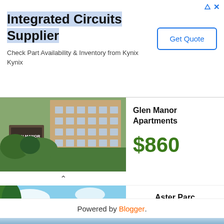[Figure (screenshot): Advertisement banner for Integrated Circuits Supplier - Kynix, with Get Quote button]
Integrated Circuits Supplier
Check Part Availability & Inventory from Kynix Kynix
[Figure (photo): Glen Manor Apartments exterior photo with sign, garden and brick building, Glenolden, PA]
Glen Manor Apartments
$860
[Figure (photo): Aster Parc Apartments and Townhomes exterior with blue buildings, lawn and trees, Beaverton, OR]
Aster Parc Apartments and Townhomes
$1,550
Powered by Blogger.